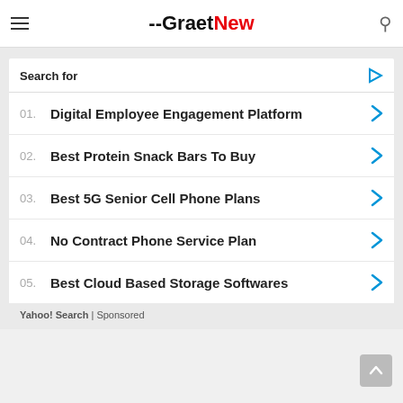GraetNew
01. Digital Employee Engagement Platform
02. Best Protein Snack Bars To Buy
03. Best 5G Senior Cell Phone Plans
04. No Contract Phone Service Plan
05. Best Cloud Based Storage Softwares
Yahoo! Search | Sponsored